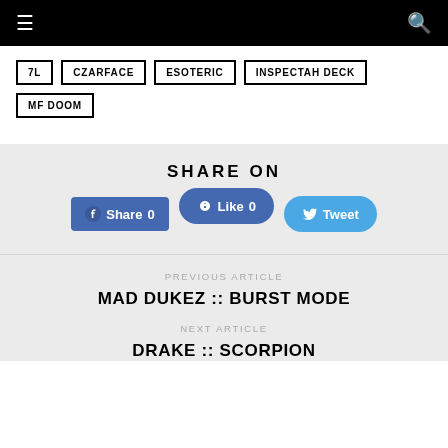☰ [menu] [search]
7L
CZARFACE
ESOTERIC
INSPECTAH DECK
MF DOOM
SHARE ON
Share 0  Like 0  Tweet
PREVIOUS ARTICLE
MAD DUKEZ :: BURST MODE
NEXT ARTICLE
DRAKE :: SCORPION